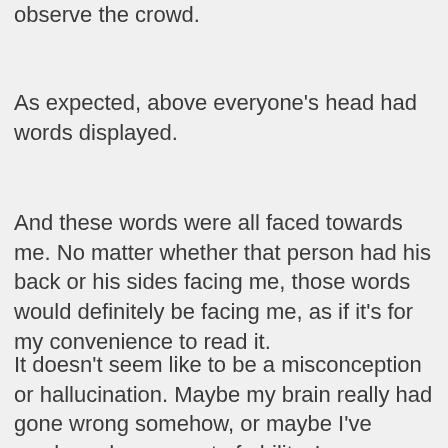observe the crowd.
As expected, above everyone's head had words displayed.
And these words were all faced towards me. No matter whether that person had his back or his sides facing me, those words would definitely be facing me, as if it's for my convenience to read it.
It doesn't seem like to be a misconception or hallucination. Maybe my brain really had gone wrong somehow, or maybe I've awakened some sort of ability. In any case, above everyone's heads, there